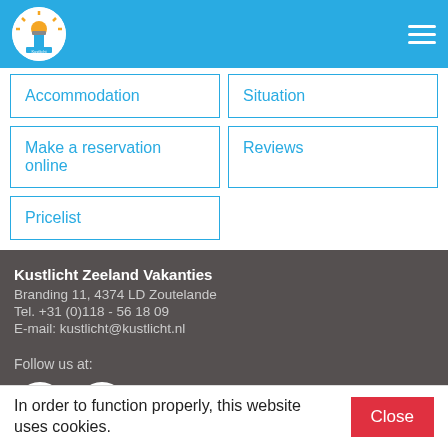Kustlicht Zeeland Vakanties - header navigation bar
Accommodation
Situation
Make a reservation online
Reviews
Pricelist
Kustlicht Zeeland Vakanties
Branding 11, 4374 LD Zoutelande
Tel. +31 (0)118 - 56 18 09
E-mail: kustlicht@kustlicht.nl
Follow us at:
[Figure (logo): Twitter and Facebook social media circular icons]
In order to function properly, this website uses cookies.